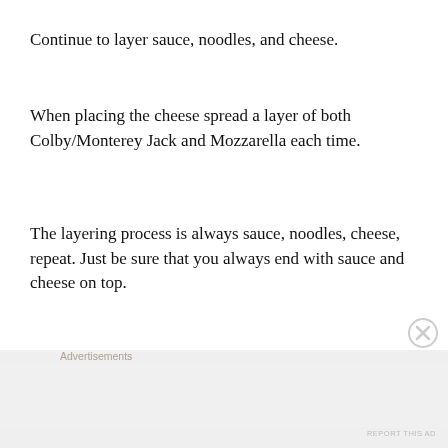Continue to layer sauce, noodles, and cheese.
When placing the cheese spread a layer of both Colby/Monterey Jack and Mozzarella each time.
The layering process is always sauce, noodles, cheese, repeat. Just be sure that you always end with sauce and cheese on top.
[Figure (screenshot): WordPress.com advertisement banner with dark blue background, WordPress logo on left, and pink 'Build Your Website' button on right]
Bake at 375°F for 25 to 30 minutes or until hot and bubbly.
[Figure (screenshot): Second advertisement area with light gray background labeled 'Advertisements']